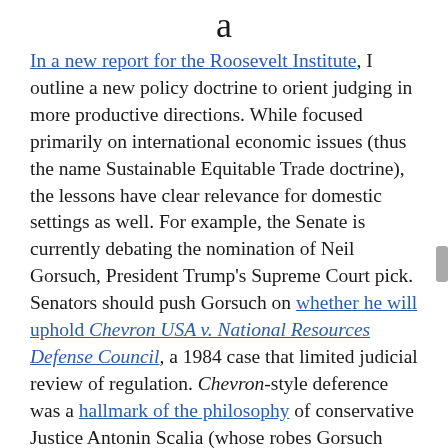a
In a new report for the Roosevelt Institute, I outline a new policy doctrine to orient judging in more productive directions. While focused primarily on international economic issues (thus the name Sustainable Equitable Trade doctrine), the lessons have clear relevance for domestic settings as well. For example, the Senate is currently debating the nomination of Neil Gorsuch, President Trump's Supreme Court pick. Senators should push Gorsuch on whether he will uphold Chevron USA v. National Resources Defense Council, a 1984 case that limited judicial review of regulation. Chevron-style deference was a hallmark of the philosophy of conservative Justice Antonin Scalia (whose robes Gorsuch hopes to fill) and is one way that appropriate division of labor between the branches of government is